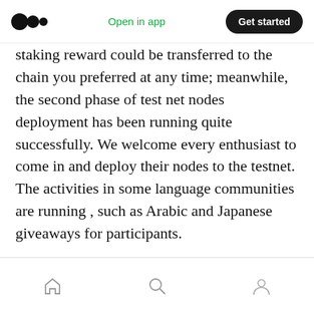Open in app | Get started
staking reward could be transferred to the chain you preferred at any time; meanwhile, the second phase of test net nodes deployment has been running quite successfully. We welcome every enthusiast to come in and deploy their nodes to the testnet. The activities in some language communities are running , such as Arabic and Japanese giveaways for participants.
Here, we share every bit of Ares.
Development Progress
Home | Search | Profile